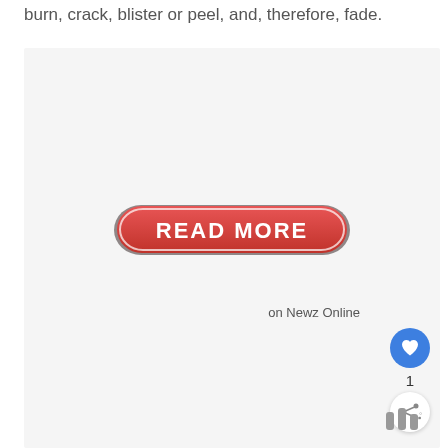burn, crack, blister or peel, and, therefore, fade.
[Figure (screenshot): A large light gray box containing a red READ MORE button in the center. On the right side there is a blue heart/like button with count '1' below it, and a share button. At the bottom right is a small logo. Below the box on the right it reads 'on Newz Online'.]